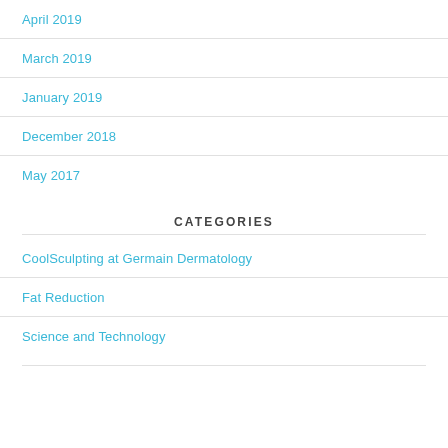April 2019
March 2019
January 2019
December 2018
May 2017
CATEGORIES
CoolSculpting at Germain Dermatology
Fat Reduction
Science and Technology